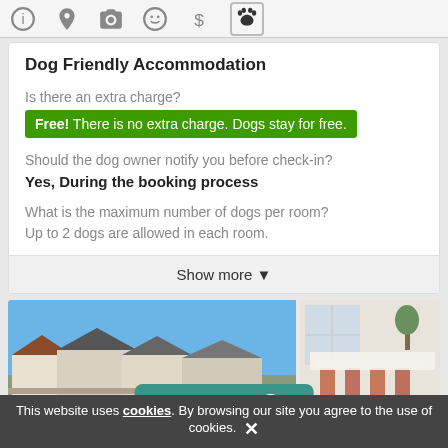[Figure (screenshot): Navigation icon bar with info, location, camera, smiley, dollar, and paw print icons. The paw print icon is active/selected.]
Dog Friendly Accommodation
Is there an extra charge?
Free! There is no extra charge. Dogs stay for free.
Should the dog owner notify you before check-in?
Yes, During the booking process
What is the maximum number of dogs per room?
Up to 2 dogs are allowed in each room.
Show more ▾
[Figure (photo): Two photos side by side: left shows exterior of a low Nordic-style accommodation building under blue sky; right shows a banquet/dining room with long table set for a formal meal.]
Categories 1
This website uses cookies. By browsing our site you agree to the use of cookies.